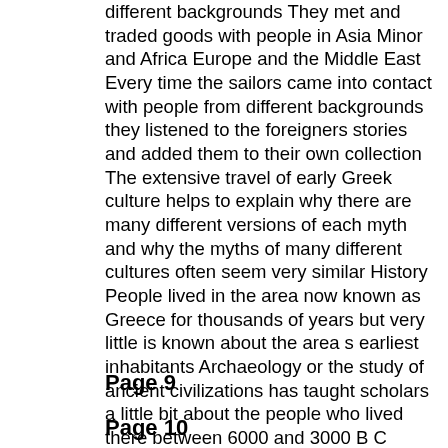different backgrounds They met and traded goods with people in Asia Minor and Africa Europe and the Middle East Every time the sailors came into contact with people from different backgrounds they listened to the foreigners stories and added them to their own collection The extensive travel of early Greek culture helps to explain why there are many different versions of each myth and why the myths of many different cultures often seem very similar History People lived in the area now known as Greece for thousands of years but very little is known about the area s earliest inhabitants Archaeology or the study of ancient civilizations has taught scholars a little bit about the people who lived there between 6000 and 3000 B C Scholars believe that the early Greeks relied on farming 2 and lived in small village like communities The years 3000 to 1600 B C are often considered the beginning of Greek culture and Western civilization in general Scholars do not know much about the daily lives 7
Page 9
Page 10